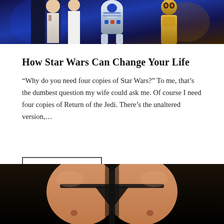[Figure (photo): Photo of Star Wars cosplay characters including Princess Leia, R2-D2, and C-3PO against a blue-lit background]
How Star Wars Can Change Your Life
“Why do you need four copies of Star Wars?” To me, that’s the dumbest question my wife could ask me. Of course I need four copies of Return of the Jedi. There’s the unaltered version,...
READ MORE
[Figure (photo): Close-up photo of a person's torso wearing a black harness or costume piece against a dark background]